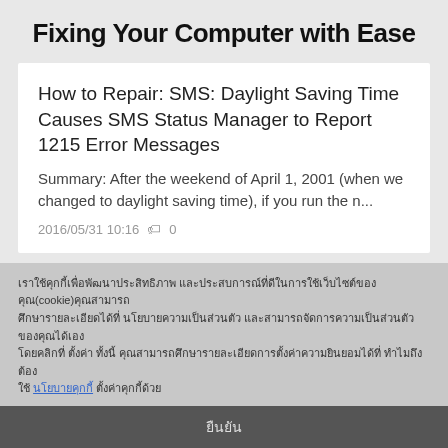Fixing Your Computer with Ease
How to Repair: SMS: Daylight Saving Time Causes SMS Status Manager to Report 1215 Error Messages
Summary: After the weekend of April 1, 2001 (when we changed to daylight saving time), if you run the n...
2016/05/31 10:16   🏷 0
Best Answer: Steps to modify the FA Fixed Assets Inventory List Report to Sort by Physical Location
คุกกี้ (cookie) คุกกี้
คุกกี้คุกกี้คุกกี้คุกกี้คุกกี้คุกกี้คุกกี้คุกกี้คุกกี้คุกกี้คุกกี้
คุกกี้คุกกี้คุกกี้คุกกี้คุกกี้คุกกี้คุกกี้คุกกี้คุกกี้คุกกี้คุกกี้
คุก นโยบายคุกกี้ คุกกี้คุกกี้